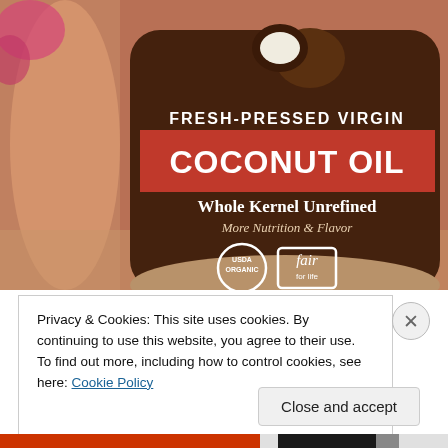[Figure (photo): Close-up photo of a jar of Fresh-Pressed Virgin Coconut Oil, Whole Kernel Unrefined, More Nutrition & Flavor, 14 FL OZ (414 mL), with USDA Organic and Fair for Life certifications logos, dark maroon label with red banner.]
Privacy & Cookies: This site uses cookies. By continuing to use this website, you agree to their use.
To find out more, including how to control cookies, see here: Cookie Policy